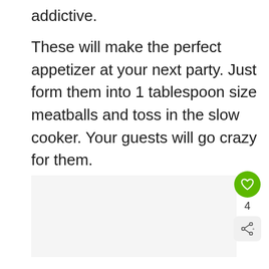addictive.
These will make the perfect appetizer at your next party. Just form them into 1 tablespoon size meatballs and toss in the slow cooker. Your guests will go crazy for them.
[Figure (other): Light gray image placeholder area below the text]
[Figure (other): Green circular heart/like button with count of 4, share button, and What's Next banner showing KFC Gravy Recipe]